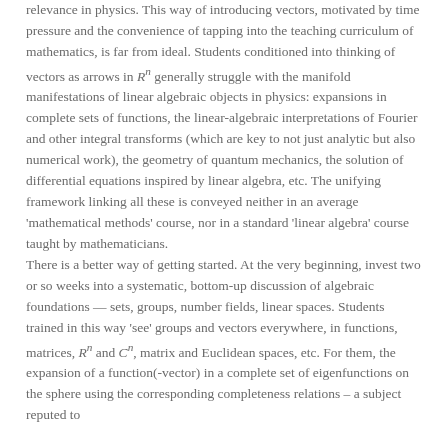relevance in physics. This way of introducing vectors, motivated by time pressure and the convenience of tapping into the teaching curriculum of mathematics, is far from ideal. Students conditioned into thinking of vectors as arrows in R^n generally struggle with the manifold manifestations of linear algebraic objects in physics: expansions in complete sets of functions, the linear-algebraic interpretations of Fourier and other integral transforms (which are key to not just analytic but also numerical work), the geometry of quantum mechanics, the solution of differential equations inspired by linear algebra, etc. The unifying framework linking all these is conveyed neither in an average 'mathematical methods' course, nor in a standard 'linear algebra' course taught by mathematicians.
There is a better way of getting started. At the very beginning, invest two or so weeks into a systematic, bottom-up discussion of algebraic foundations — sets, groups, number fields, linear spaces. Students trained in this way 'see' groups and vectors everywhere, in functions, matrices, R^n and C^n, matrix and Euclidean spaces, etc. For them, the expansion of a function(-vector) in a complete set of eigenfunctions on the sphere using the corresponding completeness relations – a subject reputed to